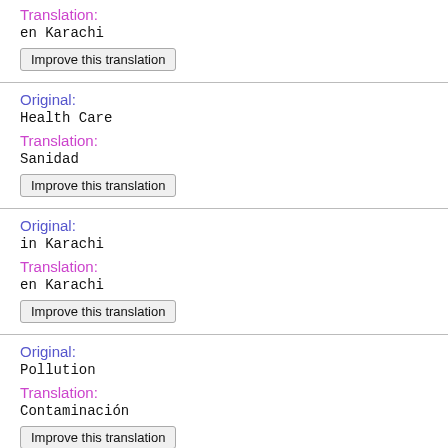Translation:
en Karachi
Improve this translation
Original:
Health Care
Translation:
Sanidad
Improve this translation
Original:
in Karachi
Translation:
en Karachi
Improve this translation
Original:
Pollution
Translation:
Contaminación
Improve this translation
Original: